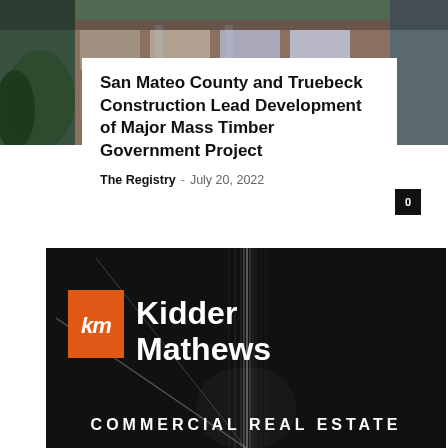[Figure (photo): Exterior photo of a brick building with glass windows and green trees, dark/overcast atmosphere]
San Mateo County and Truebeck Construction Lead Development of Major Mass Timber Government Project
The Registry – July 20, 2022
[Figure (logo): Kidder Mathews commercial real estate advertisement banner. Dark background with vertical light streaks. Orange square logo with 'km' in italic white letters, followed by 'Kidder Mathews' in large white bold text. Bottom reads 'COMMERCIAL REAL ESTATE' in wide white caps.]